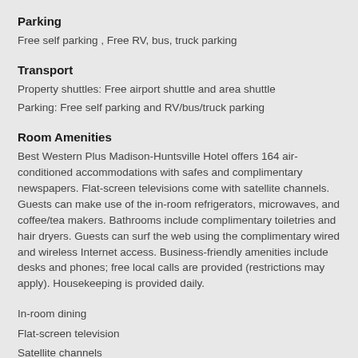Parking
Free self parking , Free RV, bus, truck parking
Transport
Property shuttles: Free airport shuttle and area shuttle
Parking: Free self parking and RV/bus/truck parking
Room Amenities
Best Western Plus Madison-Huntsville Hotel offers 164 air-conditioned accommodations with safes and complimentary newspapers. Flat-screen televisions come with satellite channels. Guests can make use of the in-room refrigerators, microwaves, and coffee/tea makers. Bathrooms include complimentary toiletries and hair dryers. Guests can surf the web using the complimentary wired and wireless Internet access. Business-friendly amenities include desks and phones; free local calls are provided (restrictions may apply). Housekeeping is provided daily.
In-room dining
Flat-screen television
Satellite channels